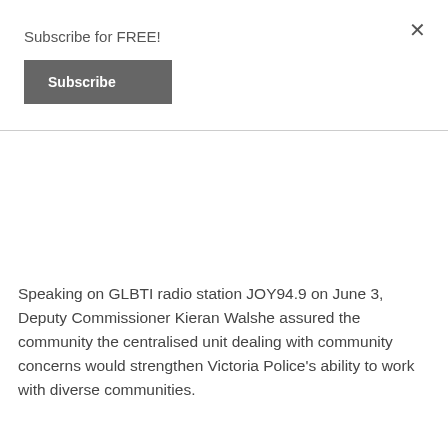Subscribe for FREE!
Subscribe
Speaking on GLBTI radio station JOY94.9 on June 3, Deputy Commissioner Kieran Walshe assured the community the centralised unit dealing with community concerns would strengthen Victoria Police's ability to work with diverse communities.